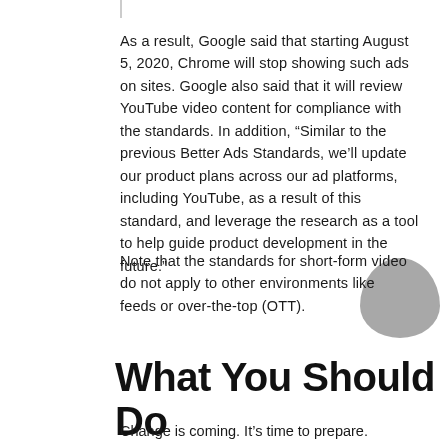As a result, Google said that starting August 5, 2020, Chrome will stop showing such ads on sites. Google also said that it will review YouTube video content for compliance with the standards. In addition, “Similar to the previous Better Ads Standards, we’ll update our product plans across our ad platforms, including YouTube, as a result of this standard, and leverage the research as a tool to help guide product development in the future.”
Note that the standards for short-form video do not apply to other environments like feeds or over-the-top (OTT).
What You Should Do
Change is coming. It’s time to prepare.